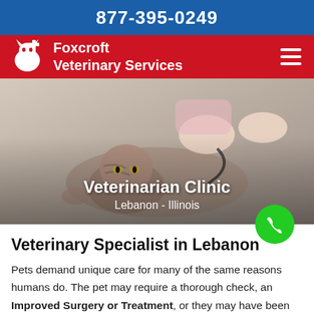877-395-0249
[Figure (logo): Foxcroft Veterinary Services logo with dog/cat silhouette and plus sign on red navigation bar with hamburger menu]
[Figure (photo): Veterinarian examining a tabby cat lying on its back with a stethoscope, text overlay reads 'Veterinarian Clinic Lebanon - Illinois']
Veterinary Specialist in Lebanon
Pets demand unique care for many of the same reasons humans do. The pet may require a thorough check, an Improved Surgery or Treatment, or they may have been